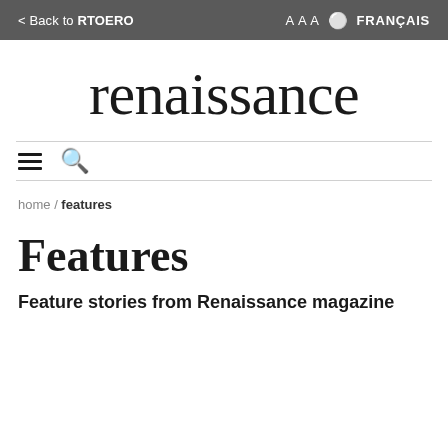< Back to RTOERO   A A A   🌐 FRANÇAIS
renaissance
[Figure (other): Navigation bar with hamburger menu icon and search icon]
home / features
Features
Feature stories from Renaissance magazine